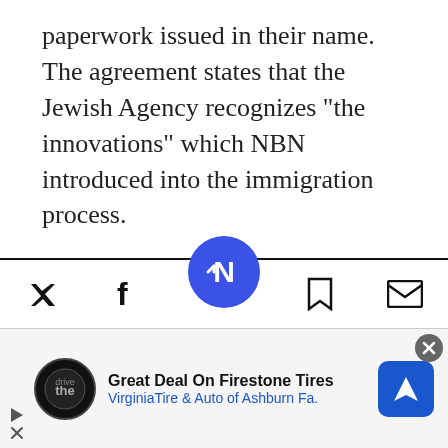paperwork issued in their name. The agreement states that the Jewish Agency recognizes "the innovations" which NBN introduced into the immigration process.
Another section of the agreement deals with arbitration. Under the agreement, negative comments in the media will bring about immediate official corrections and denials by the organizations. To fight leaks from within, it was decided to create a telephone "hotline" between the sides to [report] immediately about
[Figure (other): Mobile app toolbar with Twitter, Facebook, bookmark, and email share icons, plus a circular blue Newsweek navigation button in the center]
[Figure (other): Advertisement banner: Great Deal On Firestone Tires - VirginiaTire & Auto of Ashburn Fa. with logo and navigation arrow icon]